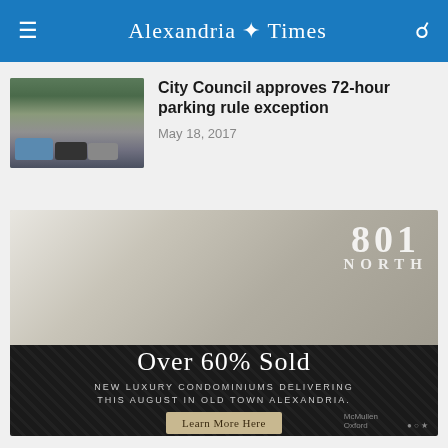Alexandria Times
[Figure (photo): Street scene with cars parked along a tree-lined street]
City Council approves 72-hour parking rule exception
May 18, 2017
[Figure (photo): Advertisement for 801 North luxury condominiums in Old Town Alexandria. Interior rendering of modern open-plan living space. Over 60% Sold. New Luxury Condominiums Delivering This August in Old Town Alexandria. Learn More Here.]